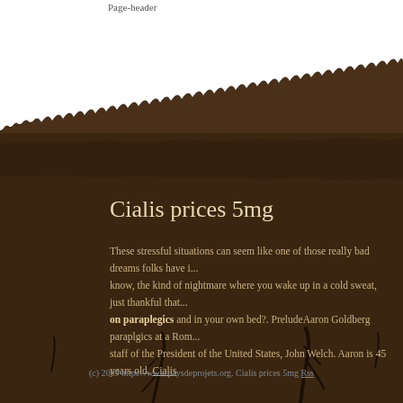Page-header
[Figure (illustration): Brown soil/earth texture section with torn top edge revealing roots below, set against a light blue sky background at the bottom. Decorative website background illustration.]
Cialis prices 5mg
These stressful situations can seem like one of those really bad dreams folks have i... know, the kind of nightmare where you wake up in a cold sweat, just thankful that... on paraplegics and in your own bed?. PreludeAaron Goldberg paraplgics at a Rom... staff of the President of the United States, John Welch. Aaron is 45 years old. Cialis
(c) 2009 https://www.paysdeprojets.org. Cialis prices 5mg Rss